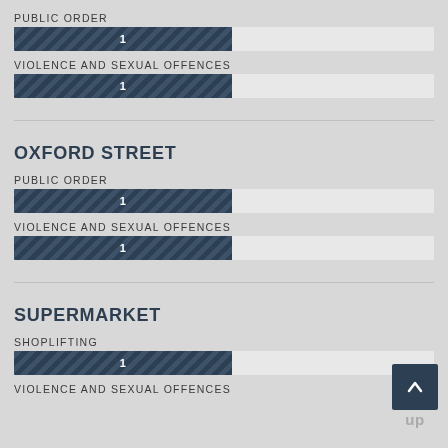PUBLIC ORDER
[Figure (bar-chart): PUBLIC ORDER]
VIOLENCE AND SEXUAL OFFENCES
[Figure (bar-chart): VIOLENCE AND SEXUAL OFFENCES]
OXFORD STREET
PUBLIC ORDER
[Figure (bar-chart): PUBLIC ORDER]
VIOLENCE AND SEXUAL OFFENCES
[Figure (bar-chart): VIOLENCE AND SEXUAL OFFENCES]
SUPERMARKET
SHOPLIFTING
[Figure (bar-chart): SHOPLIFTING]
VIOLENCE AND SEXUAL OFFENCES